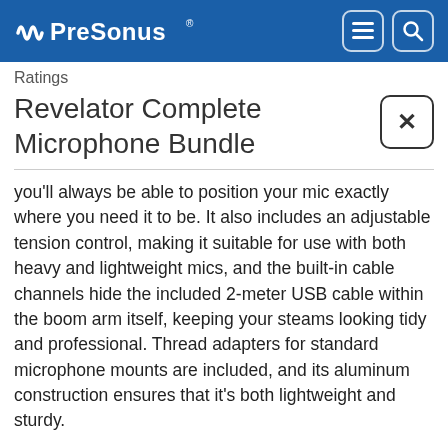PreSonus
Ratings
Revelator Complete Microphone Bundle
you'll always be able to position your mic exactly where you need it to be. It also includes an adjustable tension control, making it suitable for use with both heavy and lightweight mics, and the built-in cable channels hide the included 2-meter USB cable within the boom arm itself, keeping your steams looking tidy and professional. Thread adapters for standard microphone mounts are included, and its aluminum construction ensures that it's both lightweight and sturdy.